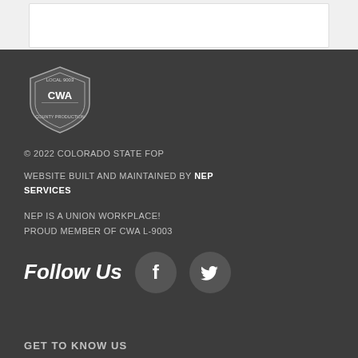[Figure (logo): CWA Local 9003 union shield logo in white/gray on dark background]
© 2022 COLORADO STATE FOP
WEBSITE BUILT AND MAINTAINED BY NEP SERVICES
NEP IS A UNION WORKPLACE! PROUD MEMBER OF CWA L-9003
Follow Us
[Figure (illustration): Facebook icon circle and Twitter icon circle social media buttons]
GET TO KNOW US